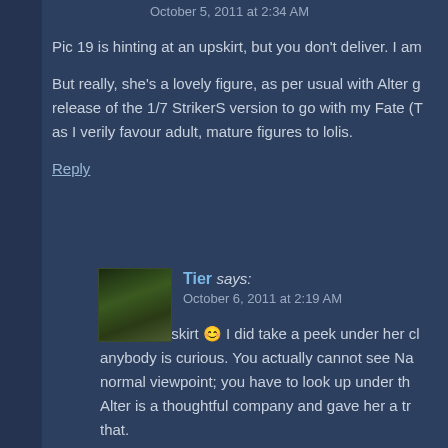October 5, 2011 at 2:34 AM
Pic 19 is hinting at an upskirt, but you don't deliver. I am
But really, she's a lovely figure, as per usual with Alter g release of the 1/7 StrikerS version to go with my Fate (T as I verily favour adult, mature figures to lolis.
Reply
Tier says:
October 6, 2011 at 2:19 AM
Yep, no upskirt 😊 I did take a peek under her cl anybody is curious. You actually cannot see Na normal viewpoint; you have to look up under th Alter is a thoughtful company and gave her a tr that.
Yeah, I would really like to see that as well, I th